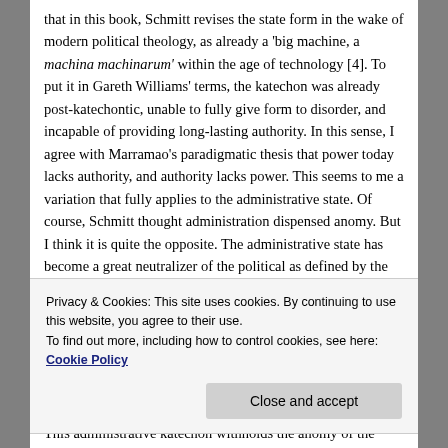that in this book, Schmitt revises the state form in the wake of modern political theology, as already a 'big machine, a machina machinarum' within the age of technology [4]. To put it in Gareth Williams' terms, the katechon was already post-katechontic, unable to fully give form to disorder, and incapable of providing long-lasting authority. In this sense, I agree with Marramao's paradigmatic thesis that power today lacks authority, and authority lacks power. This seems to me a variation that fully applies to the administrative state. Of course, Schmitt thought administration dispensed anomy. But I think it is quite the opposite. The administrative state has become a great neutralizer of the political as defined by the friend-enemy distinction in the second half of the twentieth
Privacy & Cookies: This site uses cookies. By continuing to use this website, you agree to their use.
To find out more, including how to control cookies, see here: Cookie Policy
This administrative katechon withholds the anomy of the